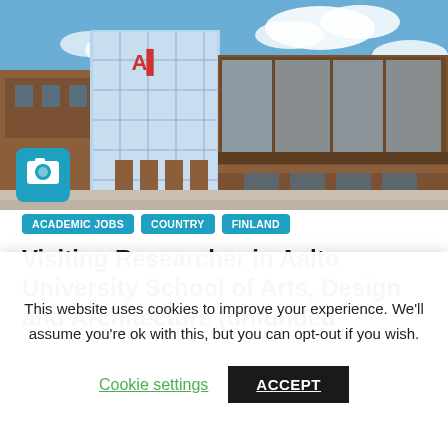[Figure (photo): Exterior photo of Aalto University campus buildings — modern glass and brick architecture under a blue sky with clouds. A teal camera icon is overlaid in the bottom-left corner of the image.]
ACADEMIC JOBS
COUNTRY
FINLAND
Visiting Researcher in Aalto University School of Arts, Design and Architecture (unfunded
This website uses cookies to improve your experience. We'll assume you're ok with this, but you can opt-out if you wish.
Cookie settings   ACCEPT